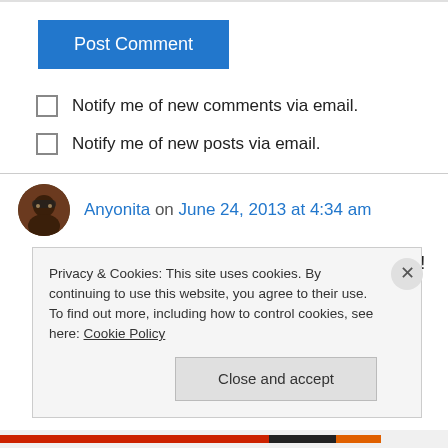[Figure (other): Post Comment button - blue rectangle with white text]
Notify me of new comments via email.
Notify me of new posts via email.
Anyonita on June 24, 2013 at 4:34 am
i LOVE kale! 🙂 What a yummy and easy recipe! Thank you so much for linking up with me this
Privacy & Cookies: This site uses cookies. By continuing to use this website, you agree to their use. To find out more, including how to control cookies, see here: Cookie Policy
Close and accept